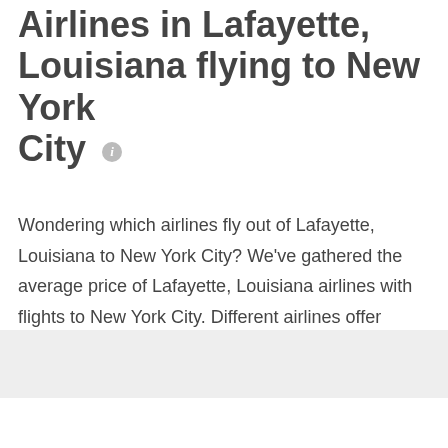Airlines in Lafayette, Louisiana flying to New York City
Wondering which airlines fly out of Lafayette, Louisiana to New York City? We've gathered the average price of Lafayette, Louisiana airlines with flights to New York City. Different airlines offer different levels of comfort and service, so consider convenience when choosing your airline.